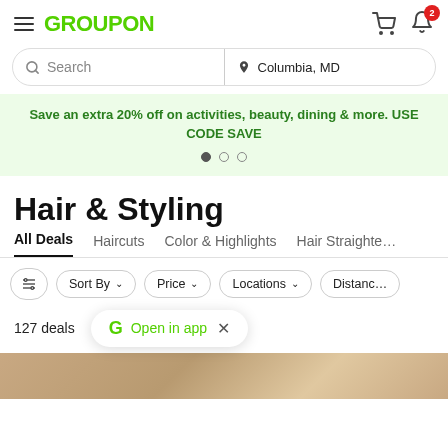GROUPON
Search | Columbia, MD
Save an extra 20% off on activities, beauty, dining & more. USE CODE SAVE
Hair & Styling
All Deals  Haircuts  Color & Highlights  Hair Straighte…
Sort By  Price  Locations  Distanc…
127 deals
Open in app